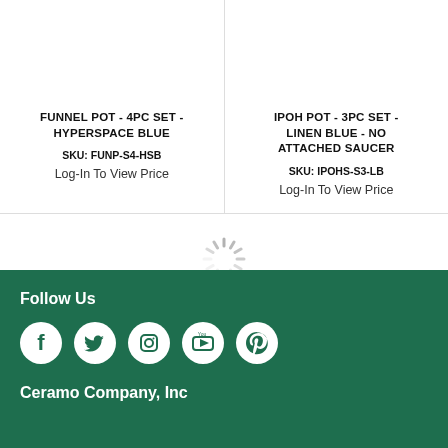FUNNEL POT - 4PC SET - HYPERSPACE BLUE
SKU: FUNP-S4-HSB
Log-In To View Price
IPOH POT - 3PC SET - LINEN BLUE - NO ATTACHED SAUCER
SKU: IPOHS-S3-LB
Log-In To View Price
[Figure (other): Loading spinner animation graphic]
Follow Us
[Figure (infographic): Social media icons: Facebook, Twitter, Instagram, YouTube, Pinterest]
Ceramo Company, Inc